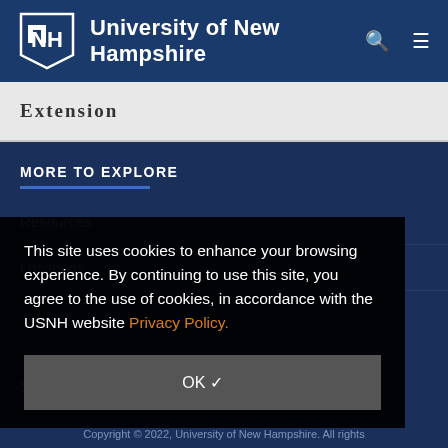University of New Hampshire
Extension
MORE TO EXPLORE
Resources
Locations
This site uses cookies to enhance your browsing experience. By continuing to use this site, you agree to the use of cookies, in accordance with the USNH website Privacy Policy.
Social Media
OK ✓
Copyright © 2022, University of New Hampshire. All rights